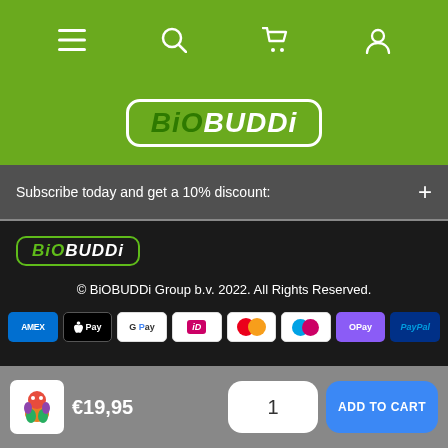[Figure (screenshot): Navigation bar with menu, search, cart, and user icons on green background]
[Figure (logo): BiOBUDDi logo on green background]
Subscribe today and get a 10% discount:
[Figure (logo): BiOBUDDi logo in footer on dark background]
© BiOBUDDi Group b.v. 2022. All Rights Reserved.
[Figure (infographic): Payment method icons: Amex, Apple Pay, Google Pay, iDEAL, Mastercard, Maestro, OPay, PayPal]
[Figure (photo): Product thumbnail of toy figure]
€19,95
1
ADD TO CART